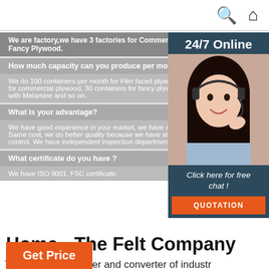Search and Home icons
| We are factory,we have 3 factories for Commercial plywood,Film Faced Plywood, Fancy Plywood. |
| How much capacity can you produce per month? |
| We do 100 containers per month for Film faced plywood, 25 containers for commercial plywood, 30 containers for fancy plywood. 40 containers with Melamine and so on. |
| What is your advantage? |
| We have good experience in your market, we have already done Same cost, we do better quality because we have strict product control. We have independent inspection department for checking |
| What certificate do you have ? |
| We have ISO 9001, FSC certificate. |
[Figure (photo): Customer service representative with headset, 24/7 Online chat widget with 'Click here for free chat!' and QUOTATION button]
Home - The Felt Company
The leading producer and converter of industrial S.A.E. grade felt, polyester felt, and die cut felt, with one of the largest felt inventories in North America. The Felt Company also offers felt products for the home and office: laptop sleeves, placemats, and more.
Get Price